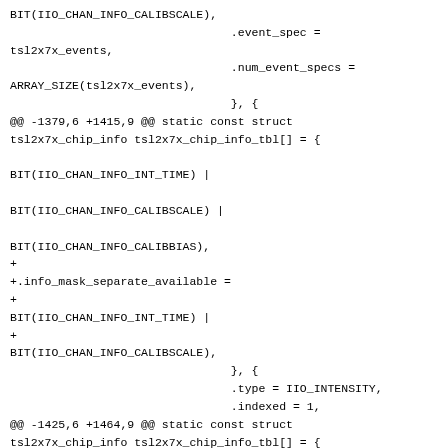BIT(IIO_CHAN_INFO_CALIBSCALE),
                                .event_spec =
tsl2x7x_events,
                                .num_event_specs =
ARRAY_SIZE(tsl2x7x_events),
                                }, {
@@ -1379,6 +1415,9 @@ static const struct
tsl2x7x_chip_info tsl2x7x_chip_info_tbl[] = {

BIT(IIO_CHAN_INFO_INT_TIME) |

BIT(IIO_CHAN_INFO_CALIBSCALE) |

BIT(IIO_CHAN_INFO_CALIBBIAS),
+
+.info_mask_separate_available =
+
BIT(IIO_CHAN_INFO_INT_TIME) |
+
BIT(IIO_CHAN_INFO_CALIBSCALE),
                                }, {
                                .type = IIO_INTENSITY,
                                .indexed = 1,
@@ -1425,6 +1464,9 @@ static const struct
tsl2x7x_chip_info tsl2x7x_chip_info_tbl[] = {

BIT(IIO_CHAN_INFO_INT_TIME) |

BIT(IIO_CHAN_INFO_CALIBSCALE) |

BIT(IIO_CHAN_INFO_CALIBBIAS),